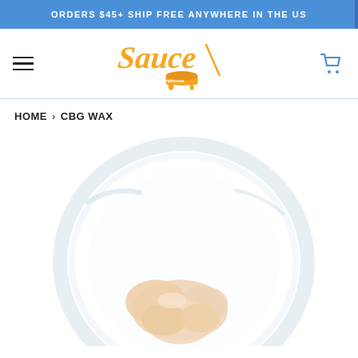ORDERS $45+ SHIP FREE ANYWHERE IN THE US
[Figure (logo): Sauce Warehouse orange script logo with dripping paint can]
HOME › CBG WAX
[Figure (photo): CBG wax concentrate in a clear glass jar, viewed from above, showing pale peach/cream colored waxy substance on a white background]